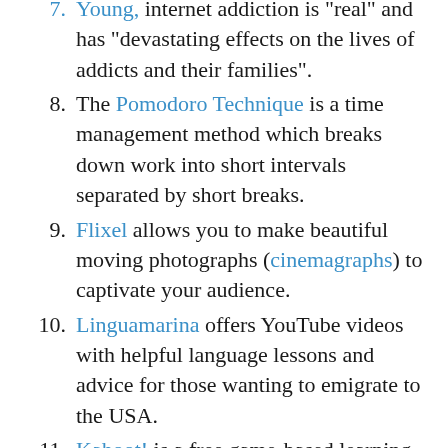Young, internet addiction is "real" and has “devastating effects on the lives of addicts and their families".
8. The Pomodoro Technique is a time management method which breaks down work into short intervals separated by short breaks.
9. Flixel allows you to make beautiful moving photographs (cinemagraphs) to captivate your audience.
10. Linguamarina offers YouTube videos with helpful language lessons and advice for those wanting to emigrate to the USA.
11. Kahoot! is a free game-based learning platform that makes it fun to learn any subject, in any language, on any device.
12. Correct app offers automated grammatical...